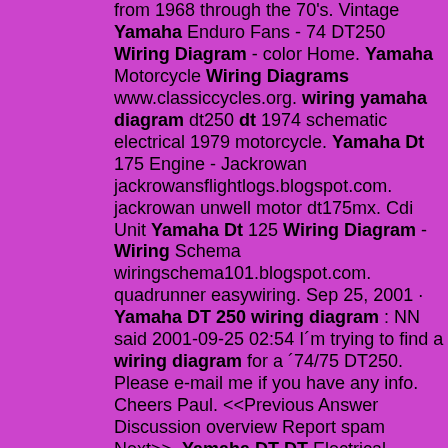from 1968 through the 70's. Vintage Yamaha Enduro Fans - 74 DT250 Wiring Diagram - color Home. Yamaha Motorcycle Wiring Diagrams www.classiccycles.org. wiring yamaha diagram dt250 dt 1974 schematic electrical 1979 motorcycle. Yamaha Dt 175 Engine - Jackrowan jackrowansflightlogs.blogspot.com. jackrowan unwell motor dt175mx. Cdi Unit Yamaha Dt 125 Wiring Diagram - Wiring Schema wiringschema101.blogspot.com. quadrunner easywiring. Sep 25, 2001 · Yamaha DT 250 wiring diagram : NN said 2001-09-25 02:54 I´m trying to find a wiring diagram for a ´74/75 DT250. Please e-mail me if you have any info. Cheers Paul. <<Previous Answer Discussion overview Report spam Next>>. Yamaha DT DT Electrical Wiring Diagram Schematic to HERE. Yamaha DT Enduro wiring diagram Hi, Rasmussenave for this scenario you will need your service/owners manual if you can't find the best tool you ever bought for your Yamaha, despair not, for a mere $9 you can download another one. dtd circuit diagram color code.. Yamaha Enduro Wiring Diagram - Yamaha DT250 Enduro Motorcycle Wiring teisco-wiring-diagram88.blogspot.com. schematics imageservice lt133. Schaltplan Yamaha Dt 50 M - Wiring Diagram facybulka.me. yamaha dt mx 1982 manual schaltplan dt50 repair haynes 1985 1983 onlymotorbikes. Yamaha dt wiring. 2004 kymco quad motortek. Yamaha dt 1983 ... Official Yamaha Online Manual Site